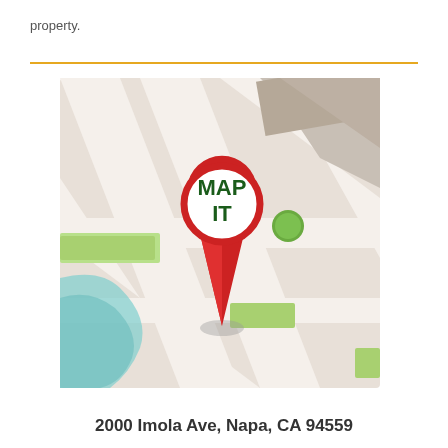property.
[Figure (map): A stylized map illustration with a red map pin labeled 'MAP IT' in green bold text. The map shows roads, blocks, green areas, and a teal river or road. The pin has a white circular head with a red border and a red pointed tail with a shadow beneath it.]
2000 Imola Ave, Napa, CA 94559